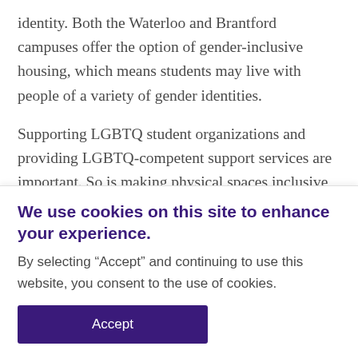identity. Both the Waterloo and Brantford campuses offer the option of gender-inclusive housing, which means students may live with people of a variety of gender identities.
Supporting LGBTQ student organizations and providing LGBTQ-competent support services are important. So is making physical spaces inclusive, for
We use cookies on this site to enhance your experience.
By selecting “Accept” and continuing to use this website, you consent to the use of cookies.
Accept